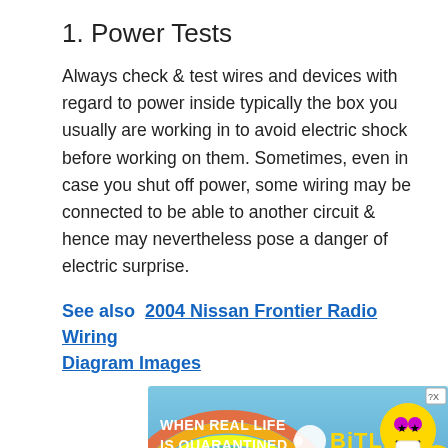1. Power Tests
Always check & test wires and devices with regard to power inside typically the box you usually are working in to avoid electric shock before working on them. Sometimes, even in case you shut off power, some wiring may be connected to be able to another circuit & hence may nevertheless pose a danger of electric surprise.
See also  2004 Nissan Frontier Radio Wiring Diagram Images
[Figure (other): Advertisement banner for BitLife game showing rainbow and emoji graphics with text 'WHEN REAL LIFE IS QUARANTINED' and 'BITLIFE']
2. U
The best method to easily instal cables is to be